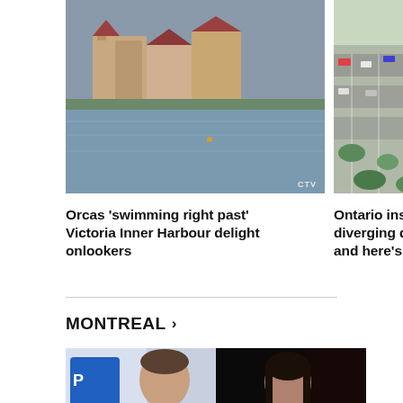[Figure (photo): Aerial or waterfront photo of Victoria Inner Harbour with residential buildings reflected in water, CTV watermark]
Orcas 'swimming right past' Victoria Inner Harbour delight onlookers
[Figure (photo): Aerial photo of Ontario highway interchange with traffic and green areas, partially cropped]
Ontario ins diverging d and here's
MONTREAL >
[Figure (photo): Two side-by-side photos: left shows a man in front of a Parti Liberal sign, right shows a woman on a dark background]